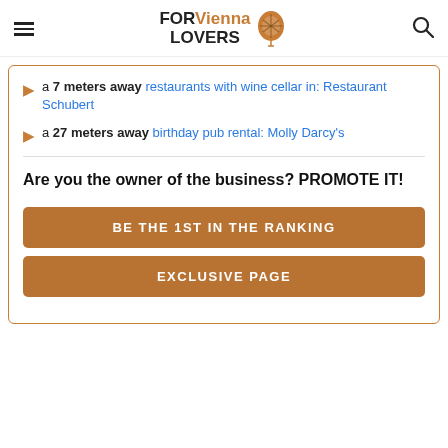FOR Vienna LOVERS
a 7 meters away restaurants with wine cellar in: Restaurant Schubert
a 27 meters away birthday pub rental: Molly Darcy's
Are you the owner of the business? PROMOTE IT!
BE THE 1ST IN THE RANKING
EXCLUSIVE PAGE